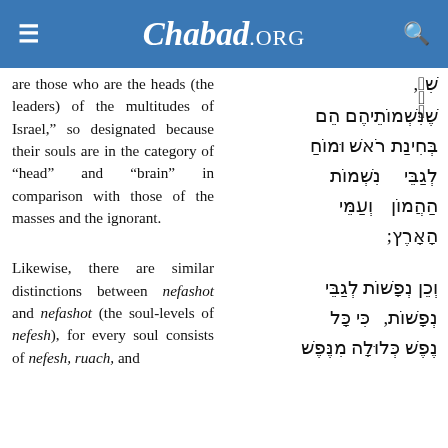Chabad.ORG
are those who are the heads (the leaders) of the multitudes of Israel," so designated because their souls are in the category of "head" and "brain" in comparison with those of the masses and the ignorant.
שֶׁנִּשְׁמוֹתֵיהֶם הֵם בְּחִינַת רֹאשׁ וּמוֹחַ לְגַבֵּי נִשְׁמוֹת הַהֲמוֹן וְעַמֵּי הָאָרֶץ;
Likewise, there are similar distinctions between nefashot and nefashot (the soul-levels of nefesh), for every soul consists of nefesh, ruach, and
וְכֵן נְפָשׁוֹת לְגַבֵּי נְפָשׁוֹת, כִּי כָּל נֶפֶשׁ כְּלוּלָה מִנֶּפֶשׁ